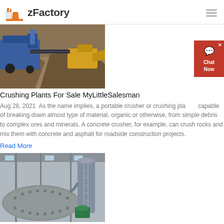zFactory
[Figure (photo): Outdoor photo of a portable rock crushing plant with blue machinery and a loader in background, surrounded by gravel/aggregate piles.]
Crushing Plants For Sale MyLittleSalesman
Aug 28, 2021  As the name implies, a portable crusher or crushing plant capable of breaking down almost type of material, organic or otherwise, from simple debris to complex ores and minerals. A concrete crusher, for example, can crush rocks and mix them with concrete and asphalt for roadside construction projects.
Read More
[Figure (photo): Indoor industrial photo of a large cylindrical ball mill or grinding machine inside a factory building with metal walkways and piping.]
mobile crush line for sale - 2020 New Type Low Price Jaw ...